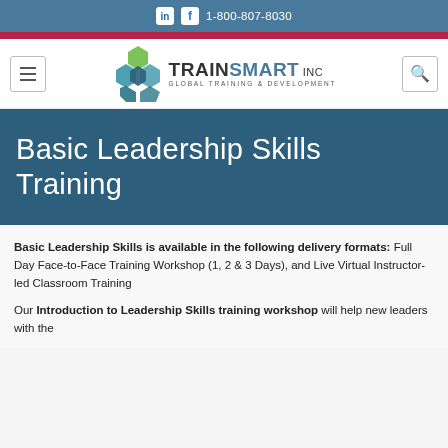1-800-807-8030
[Figure (logo): TrainSmart Inc logo with hexagon shapes and text TRAINSMART INC GLOBAL TRAINING & DEVELOPMENT]
Basic Leadership Skills Training
Basic Leadership Skills is available in the following delivery formats: Full Day Face-to-Face Training Workshop (1, 2 & 3 Days), and Live Virtual Instructor-led Classroom Training
Our Introduction to Leadership Skills training workshop will help new leaders with the